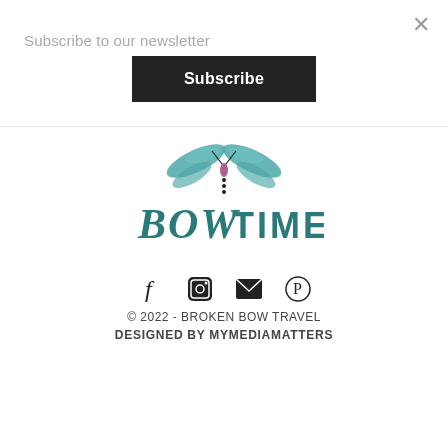Subscribe to our newsletter
Subscribe
[Figure (logo): Bow Time travel logo with dragonfly illustration and teal lettering reading BOW TIME]
[Figure (infographic): Social media icons: Facebook, Instagram, Email/envelope, Pinterest]
© 2022 - BROKEN BOW TRAVEL
DESIGNED BY MYMEDIAMATTERS